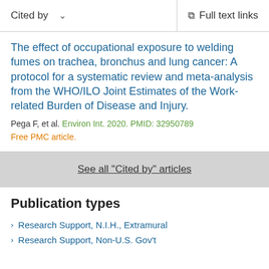Cited by    ∨    Full text links
The effect of occupational exposure to welding fumes on trachea, bronchus and lung cancer: A protocol for a systematic review and meta-analysis from the WHO/ILO Joint Estimates of the Work-related Burden of Disease and Injury.
Pega F, et al. Environ Int. 2020. PMID: 32950789
Free PMC article.
See all "Cited by" articles
Publication types
Research Support, N.I.H., Extramural
Research Support, Non-U.S. Gov't